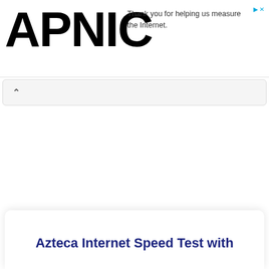APNIC — Thank you for helping us measure the Internet.
[Figure (logo): APNIC logo in large bold black text]
Thank you for helping us measure the Internet.
Azteca Internet Speed Test with